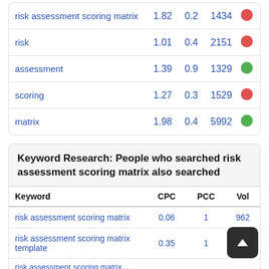| Keyword | CPC | PCC | Vol |  |
| --- | --- | --- | --- | --- |
| risk assessment scoring matrix | 1.82 | 0.2 | 1434 | red |
| risk | 1.01 | 0.4 | 2151 | red |
| assessment | 1.39 | 0.9 | 1329 | green |
| scoring | 1.27 | 0.3 | 1529 | red |
| matrix | 1.98 | 0.4 | 5992 | green |
Keyword Research: People who searched risk assessment scoring matrix also searched
| Keyword | CPC | PCC | Vol |
| --- | --- | --- | --- |
| risk assessment scoring matrix | 0.06 | 1 | 962 |
| risk assessment scoring matrix template | 0.35 | 1 |  |